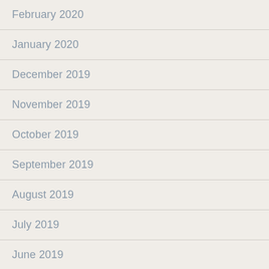February 2020
January 2020
December 2019
November 2019
October 2019
September 2019
August 2019
July 2019
June 2019
May 2019